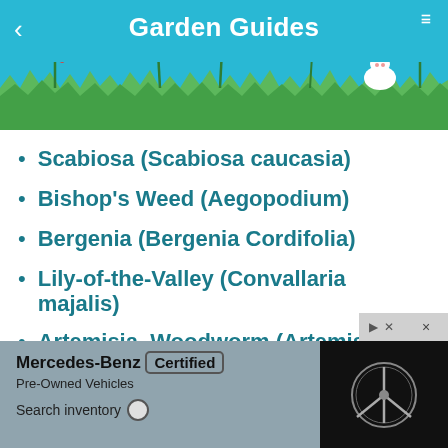Garden Guides
[Figure (illustration): Garden illustration with green grass, colorful flowers (tulips, daisies), and a white rabbit silhouette on a teal/cyan background]
Scabiosa (Scabiosa caucasia)
Bishop's Weed (Aegopodium)
Bergenia (Bergenia Cordifolia)
Lily-of-the-Valley (Convallaria majalis)
Artemisia, Woodworm (Artemisia)
Hollyhocks (Althaea rosea)
P... (partially visible behind ad)
glori... (partially visible at bottom)
[Figure (screenshot): Advertisement overlay: Mercedes-Benz Certified Pre-Owned Vehicles. Search inventory. Mercedes-Benz logo on black background. Close button (x) at top right.]